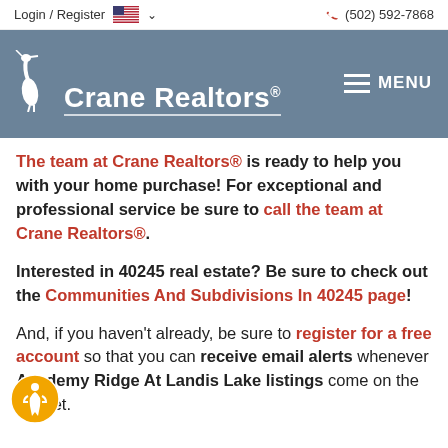Login / Register  🇺🇸 ˅   (502) 592-7868
[Figure (logo): Crane Realtors logo with heron bird icon and white text on steel blue background, with hamburger menu icon and MENU text on the right]
The team at Crane Realtors® is ready to help you with your home purchase! For exceptional and professional service be sure to call the team at Crane Realtors®.
Interested in 40245 real estate? Be sure to check out the Communities And Subdivisions In 40245 page!
And, if you haven't already, be sure to register for a free account so that you can receive email alerts whenever Academy Ridge At Landis Lake listings come on the market.